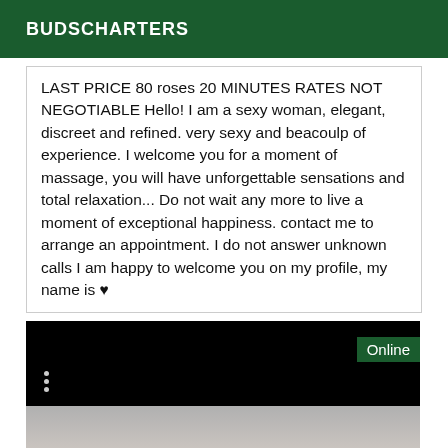BUDSCHARTERS
LAST PRICE 80 roses 20 MINUTES RATES NOT NEGOTIABLE Hello! I am a sexy woman, elegant, discreet and refined. very sexy and beacoulp of experience. I welcome you for a moment of massage, you will have unforgettable sensations and total relaxation... Do not wait any more to live a moment of exceptional happiness. contact me to arrange an appointment. I do not answer unknown calls I am happy to welcome you on my profile, my name is ♥
[Figure (photo): Dark background image with a white/beige interior scene visible in lower portion. An 'Online' badge in green is shown in the top-right corner. Three vertical dots (menu icon) are visible on the left side.]